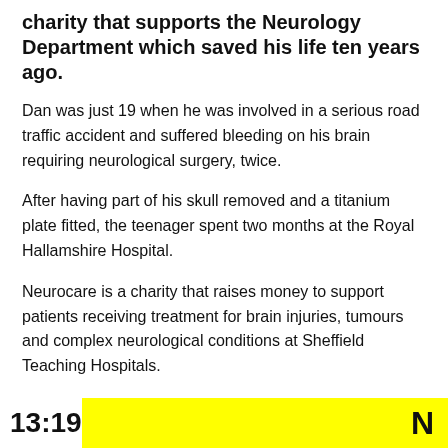charity that supports the Neurology Department which saved his life ten years ago.
Dan was just 19 when he was involved in a serious road traffic accident and suffered bleeding on his brain requiring neurological surgery, twice.
After having part of his skull removed and a titanium plate fitted, the teenager spent two months at the Royal Hallamshire Hospital.
Neurocare is a charity that raises money to support patients receiving treatment for brain injuries, tumours and complex neurological conditions at Sheffield Teaching Hospitals.
To support Neurocare's work, Dan, his brother Dec, and two friends, Josh Schwartz and Will Thompson will join
13:19